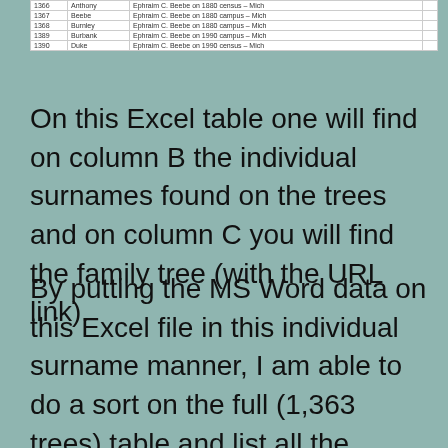| 1366 | Anthony | Ephraim C. Beebe on 1880 census - Mich |
| 1367 | Beebe | Ephraim C. Beebe on 1880 census - Mich |
| 1368 | Burnley | Ephraim C. Beebe on 1880 census - Mich |
| 1389 | Burbank | Ephraim C. Beebe on 1990 census - Mich |
| 1390 | Duke | Ephraim C. Beebe on 1990 census - Mich |
On this Excel table one will find on column B the individual surnames found on the trees and on column C you will find the family tree (with the URL link).
By putting the MS Word data on this Excel file in this individual surname manner, I am able to do a sort on the full (1,363 trees) table and list all the common names together showing on what trees those names appear. In this way I can identify possible connections between family trees.